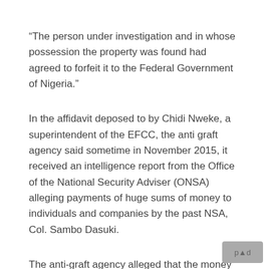“The person under investigation and in whose possession the property was found had agreed to forfeit it to the Federal Government of Nigeria.”
In the affidavit deposed to by Chidi Nweke, a superintendent of the EFCC, the anti graft agency said sometime in November 2015, it received an intelligence report from the Office of the National Security Adviser (ONSA) alleging payments of huge sums of money to individuals and companies by the past NSA, Col. Sambo Dasuki.
The anti-graft agency alleged that the money was p...